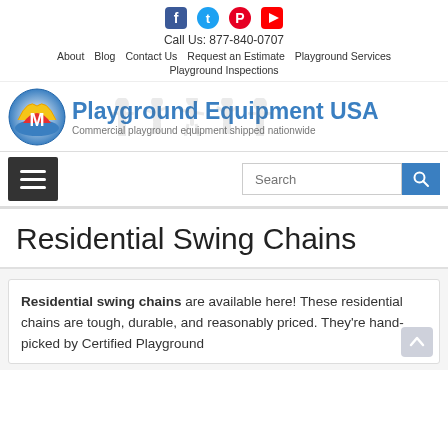Social icons: Facebook, Twitter, Pinterest, YouTube
Call Us: 877-840-0707
About | Blog | Contact Us | Request an Estimate | Playground Services | Playground Inspections
[Figure (logo): Playground Equipment USA logo with colorful circular emblem and text, tagline: Commercial playground equipment shipped nationwide]
Residential Swing Chains
Residential swing chains are available here! These residential chains are tough, durable, and reasonably priced. They're hand-picked by Certified Playground